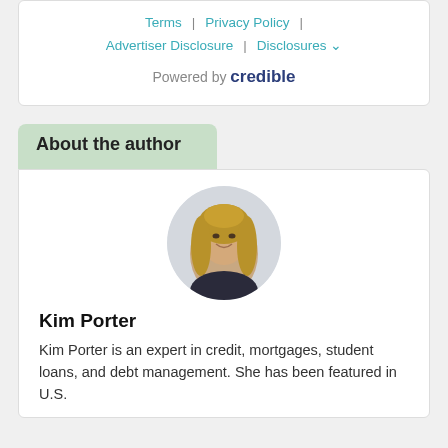Terms | Privacy Policy | Advertiser Disclosure | Disclosures
Powered by credible
About the author
[Figure (photo): Circular headshot of Kim Porter, a woman with long blonde hair, smiling, wearing a dark top]
Kim Porter
Kim Porter is an expert in credit, mortgages, student loans, and debt management. She has been featured in U.S.